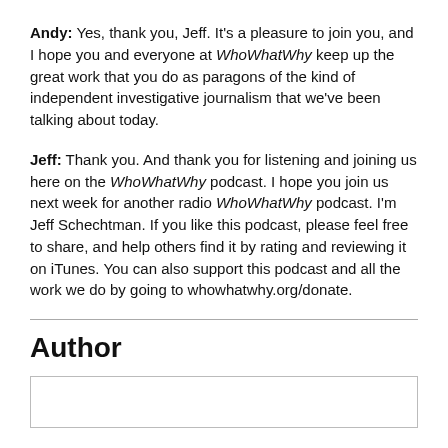Andy: Yes, thank you, Jeff. It's a pleasure to join you, and I hope you and everyone at WhoWhatWhy keep up the great work that you do as paragons of the kind of independent investigative journalism that we've been talking about today.
Jeff: Thank you. And thank you for listening and joining us here on the WhoWhatWhy podcast. I hope you join us next week for another radio WhoWhatWhy podcast. I'm Jeff Schechtman. If you like this podcast, please feel free to share, and help others find it by rating and reviewing it on iTunes. You can also support this podcast and all the work we do by going to whowhatwhy.org/donate.
Author